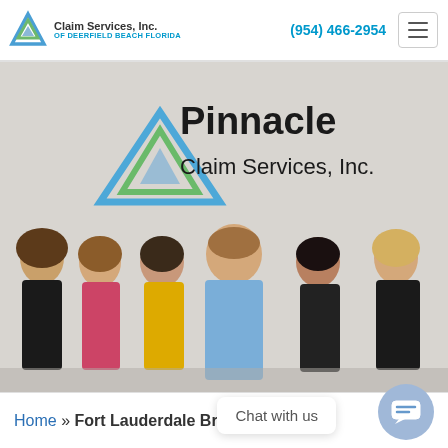Pinnacle Claim Services, Inc. of Deerfield Beach Florida | (954) 466-2954
[Figure (photo): Group photo of six employees standing in front of the Pinnacle Claim Services, Inc. wall logo. Three women on the left, one man in the center wearing a blue shirt, one woman and one woman on the right wearing a black blazer.]
Home » Fort Lauderdale Broken
Chat with us